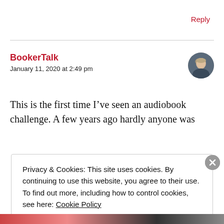Reply
BookerTalk
January 11, 2020 at 2:49 pm
[Figure (photo): Circular avatar photo of a person with light hair against a dark background]
This is the first time I've seen an audiobook challenge. A few years ago hardly anyone was
Privacy & Cookies: This site uses cookies. By continuing to use this website, you agree to their use. To find out more, including how to control cookies, see here: Cookie Policy
Close and accept